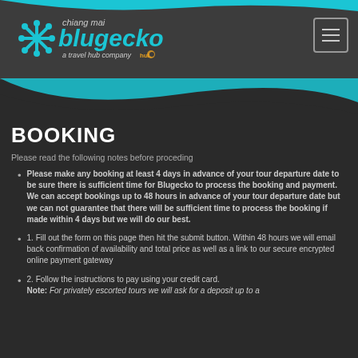[Figure (logo): Chiang Mai Blugecko logo - a travel hub company with teal gecko icon and teal text, plus hamburger menu button]
BOOKING
Please read the following notes before proceding
Please make any booking at least 4 days in advance of your tour departure date to be sure there is sufficient time for Blugecko to process the booking and payment. We can accept bookings up to 48 hours in advance of your tour departure date but we can not guarantee that there will be sufficient time to process the booking if made within 4 days but we will do our best.
1. Fill out the form on this page then hit the submit button. Within 48 hours we will email back confirmation of availability and total price as well as a link to our secure encrypted online payment gateway
2. Follow the instructions to pay using your credit card. Note: For privately escorted tours we will ask for a deposit up to a